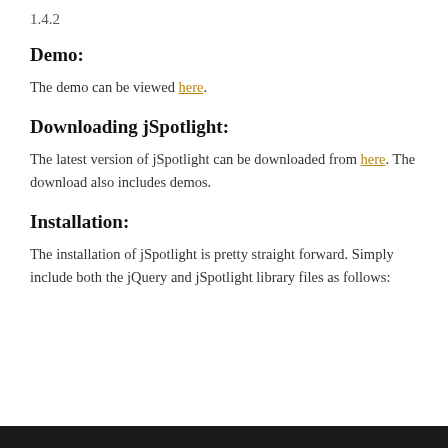1.4.2
Demo:
The demo can be viewed here.
Downloading jSpotlight:
The latest version of jSpotlight can be downloaded from here. The download also includes demos.
Installation:
The installation of jSpotlight is pretty straight forward. Simply include both the jQuery and jSpotlight library files as follows: